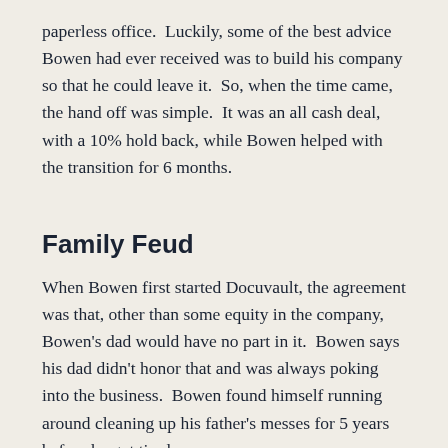paperless office.  Luckily, some of the best advice Bowen had ever received was to build his company so that he could leave it.  So, when the time came, the hand off was simple.  It was an all cash deal, with a 10% hold back, while Bowen helped with the transition for 6 months.
Family Feud
When Bowen first started Docuvault, the agreement was that, other than some equity in the company, Bowen's dad would have no part in it.  Bowen says his dad didn't honor that and was always poking into the business.  Bowen found himself running around cleaning up his father's messes for 5 years before he got tired